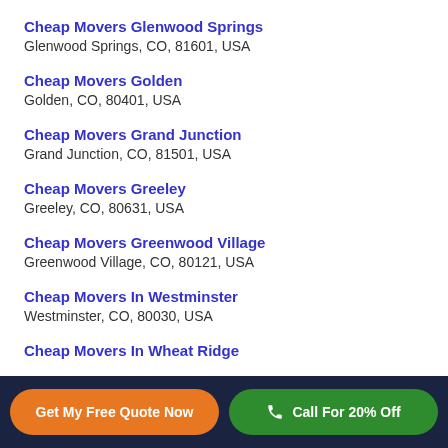Cheap Movers Glenwood Springs
Glenwood Springs, CO, 81601, USA
Cheap Movers Golden
Golden, CO, 80401, USA
Cheap Movers Grand Junction
Grand Junction, CO, 81501, USA
Cheap Movers Greeley
Greeley, CO, 80631, USA
Cheap Movers Greenwood Village
Greenwood Village, CO, 80121, USA
Cheap Movers In Westminster
Westminster, CO, 80030, USA
Cheap Movers In Wheat Ridge
Get My Free Quote Now
Call For 20% Off